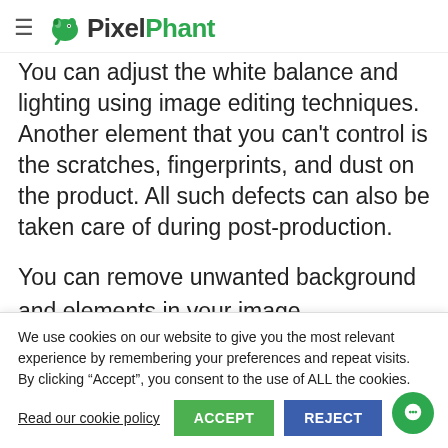PixelPhant
You can adjust the white balance and lighting using image editing techniques. Another element that you can't control is the scratches, fingerprints, and dust on the product. All such defects can also be taken care of during post-production.
You can remove unwanted background and elements in your image.
We use cookies on our website to give you the most relevant experience by remembering your preferences and repeat visits. By clicking “Accept”, you consent to the use of ALL the cookies.
Read our cookie policy  ACCEPT  REJECT